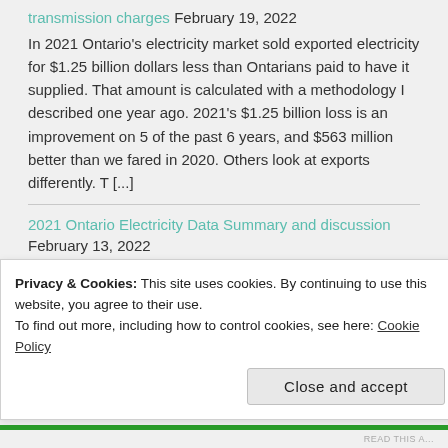transmission charges February 19, 2022
In 2021 Ontario's electricity market sold exported electricity for $1.25 billion dollars less than Ontarians paid to have it supplied. That amount is calculated with a methodology I described one year ago. 2021's $1.25 billion loss is an improvement on 5 of the past 6 years, and $563 million better than we fared in 2020. Others look at exports differently. T [...]
2021 Ontario Electricity Data Summary and discussion
February 13, 2022
Ontario's system operator (IESO) was tardy in publishing its "year in review" summary - and I was content to delay mine until their's appeared. Before diving into the analysis I want
Privacy & Cookies: This site uses cookies. By continuing to use this website, you agree to their use.
To find out more, including how to control cookies, see here: Cookie Policy
Close and accept